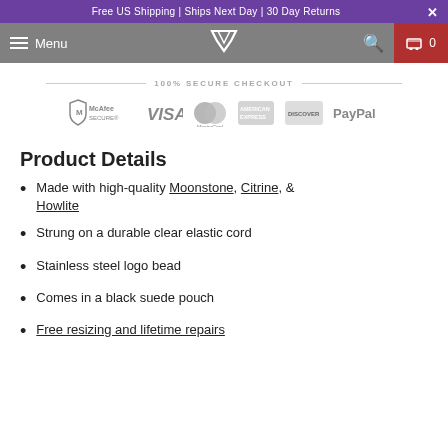Free US Shipping | Ships Next Day | 30 Day Returns
[Figure (screenshot): Navigation bar with hamburger menu, Menu text, V logo, search icon, and cart icon with 0]
[Figure (infographic): 100% SECURE CHECKOUT banner with payment logos: McAfee SECURE, VISA, MasterCard, American Express, Discover, PayPal]
Product Details
Made with high-quality Moonstone, Citrine, & Howlite
Strung on a durable clear elastic cord
Stainless steel logo bead
Comes in a black suede pouch
Free resizing and lifetime repairs